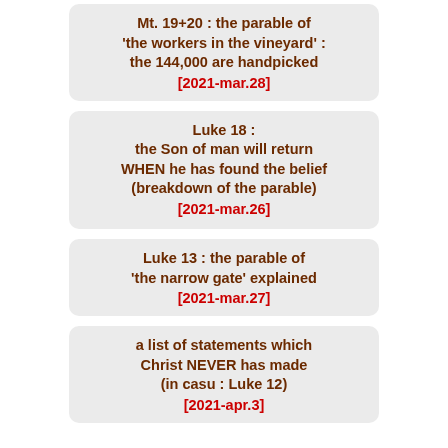Mt. 19+20 : the parable of 'the workers in the vineyard' : the 144,000 are handpicked [2021-mar.28]
Luke 18 : the Son of man will return WHEN he has found the belief (breakdown of the parable) [2021-mar.26]
Luke 13 : the parable of 'the narrow gate' explained [2021-mar.27]
a list of statements which Christ NEVER has made (in casu : Luke 12) [2021-apr.3]